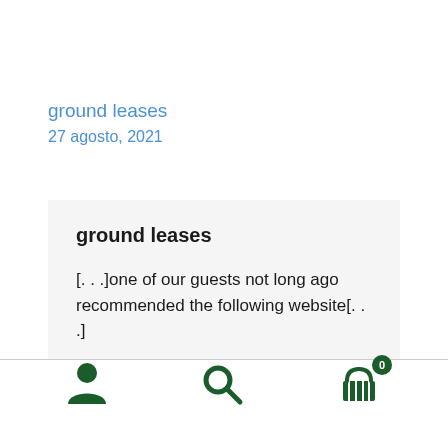ground leases
27 agosto, 2021
ground leases
[. . .]one of our guests not long ago recommended the following website[. . .]
navigation icons: user, search, cart (0)